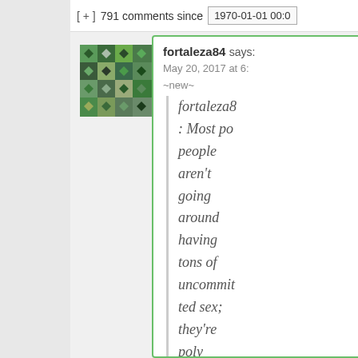[ + ]  791 comments since  1970-01-01 00:0
[Figure (illustration): User avatar/identicon with a geometric green, grey, and black pattern]
fortaleza84 says:
May 20, 2017 at 6:
~new~
fortaleza8: Most po people aren't going around having tons of uncommitted sex; they're poly because they want